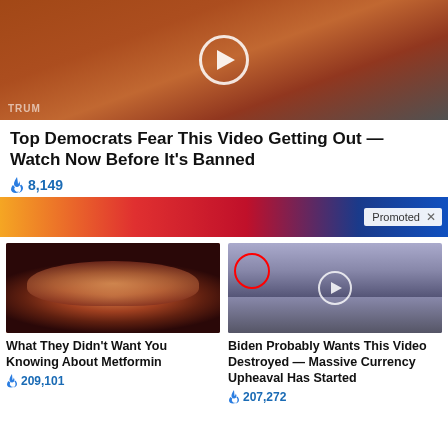[Figure (screenshot): Video thumbnail showing a woman in orange jacket and a man, with a play button circle overlay]
Top Democrats Fear This Video Getting Out — Watch Now Before It's Banned
🔥 8,149
[Figure (screenshot): Promoted banner with colorful gradient background showing a red/blue glowing graphic, with Promoted label and X button]
[Figure (photo): Close-up medical image of what appears to be internal organs, related to Metformin article]
What They Didn't Want You Knowing About Metformin
🔥 209,101
[Figure (screenshot): Group of men in suits standing in a row, with a red circle highlighting one person and a play button overlay, CIA logo on floor]
Biden Probably Wants This Video Destroyed — Massive Currency Upheaval Has Started
🔥 207,272